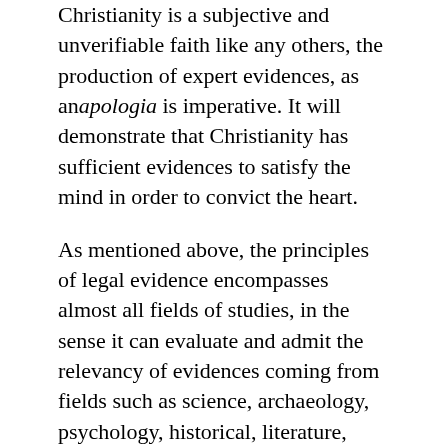Christianity is a subjective and unverifiable faith like any others, the production of expert evidences, as an apologia is imperative. It will demonstrate that Christianity has sufficient evidences to satisfy the mind in order to convict the heart.
As mentioned above, the principles of legal evidence encompasses almost all fields of studies, in the sense it can evaluate and admit the relevancy of evidences coming from fields such as science, archaeology, psychology, historical, literature, medical and forensic science, etc. The law is ready to accept guidance from suitable qualified experts of these fields as long they can provide concrete facts and not mere subjective theories. The judge in Buckley v Rice Thomas (1554) acknowledged, "...if